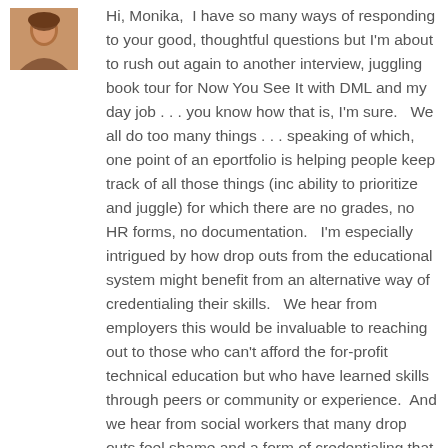[Figure (photo): Small profile photo of a woman with brown/auburn hair in the top-left corner]
Hi, Monika,  I have so many ways of responding to your good, thoughtful questions but I'm about to rush out again to another interview, juggling book tour for Now You See It with DML and my day job . . . you know how that is, I'm sure.   We all do too many things . . . speaking of which, one point of an eportfolio is helping people keep track of all those things (inc ability to prioritize and juggle) for which there are no grades, no HR forms, no documentation.   I'm especially intrigued by how drop outs from the educational system might benefit from an alternative way of credentialing their skills.   We hear from employers this would be invaluable to reaching out to those who can't afford the for-profit technical education but who have learned skills through peers or community or experience.  And we hear from social workers that many drop outs feel shame and a form of credentialing that was low-cost could be a motivator and a boost to destroyed and